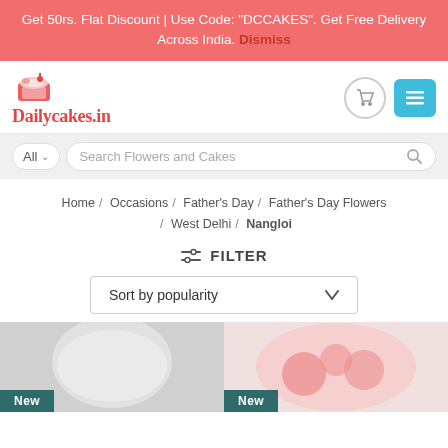Get 50rs. Flat Discount | Use Code: "DCCAKES". Get Free Delivery Across India. Dismiss
[Figure (logo): Dailycakes.in logo with cake illustration]
All ∨  Search Flowers and Cakes
Home / Occasions / Father's Day / Father's Day Flowers / West Delhi / Nangloi
≡= FILTER
Sort by popularity ∨
[Figure (photo): Two product cards with New badges at bottom - left showing a white cake, right showing a floral arrangement]
New
New